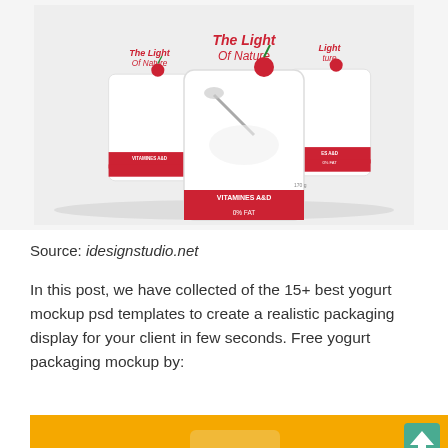[Figure (photo): Three white yogurt cups with red branding 'The Light Of Nature', showing cherries and spoon imagery, labeled 'VITAMINES A&D' and '0% FAT']
Source: idesignstudio.net
In this post, we have collected of the 15+ best yogurt mockup psd templates to create a realistic packaging display for your client in few seconds. Free yogurt packaging mockup by:
[Figure (photo): Yellow/orange background image showing a yogurt container, partially cut off at bottom of page. An upward-pointing teal arrow button is visible in the bottom right corner.]